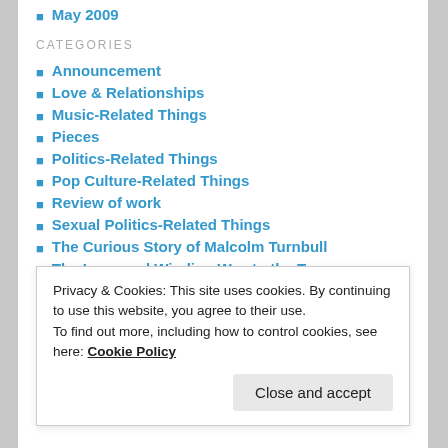May 2009
CATEGORIES
Announcement
Love & Relationships
Music-Related Things
Pieces
Politics-Related Things
Pop Culture-Related Things
Review of work
Sexual Politics-Related Things
The Curious Story of Malcolm Turnbull
The Long and Winding Way to the Top
Uncategorized
Privacy & Cookies: This site uses cookies. By continuing to use this website, you agree to their use. To find out more, including how to control cookies, see here: Cookie Policy